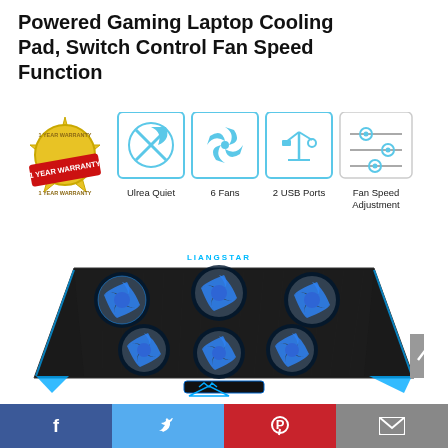Powered Gaming Laptop Cooling Pad, Switch Control Fan Speed Function
[Figure (photo): Product feature icons: 1 Year Warranty badge, Ultra Quiet icon, 6 Fans icon, 2 USB Ports icon, Fan Speed Adjustment icon]
[Figure (photo): LIANGSTAR gaming laptop cooling pad with 6 blue LED fans, black design with blue accents]
Facebook | Twitter | Pinterest | Email share buttons